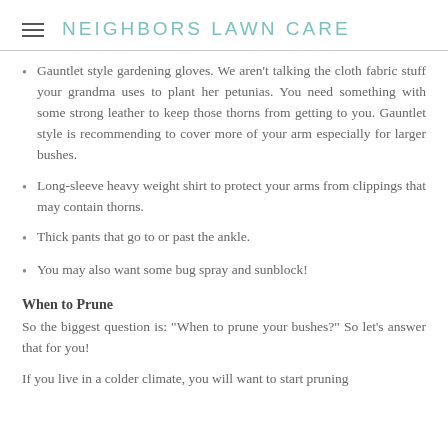NEIGHBORS LAWN CARE
Gauntlet style gardening gloves. We aren't talking the cloth fabric stuff your grandma uses to plant her petunias. You need something with some strong leather to keep those thorns from getting to you. Gauntlet style is recommending to cover more of your arm especially for larger bushes.
Long-sleeve heavy weight shirt to protect your arms from clippings that may contain thorns.
Thick pants that go to or past the ankle.
You may also want some bug spray and sunblock!
When to Prune
So the biggest question is: "When to prune your bushes?" So let's answer that for you!
If you live in a colder climate, you will want to start pruning